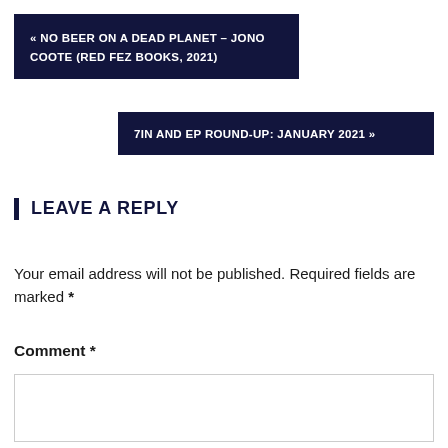« NO BEER ON A DEAD PLANET – JONO COOTE (RED FEZ BOOKS, 2021)
7IN AND EP ROUND-UP: JANUARY 2021 »
LEAVE A REPLY
Your email address will not be published. Required fields are marked *
Comment *